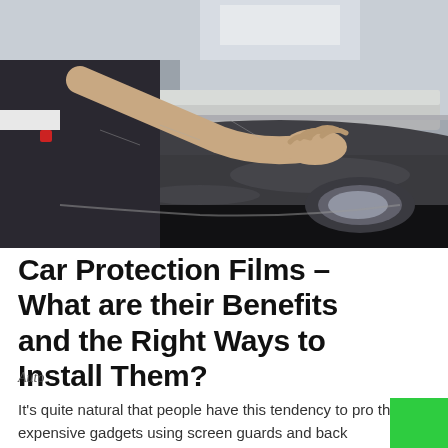[Figure (photo): A person applying a protective film/wrap to the hood and front area of a dark car in what appears to be an automotive workshop. The worker's hands and arms are visible pressing down a transparent/silver film onto the vehicle's black surface near the headlight area.]
Car Protection Films – What are their Benefits and the Right Ways to Install Them?
Auto
It's quite natural that people have this tendency to pro their expensive gadgets using screen guards and back